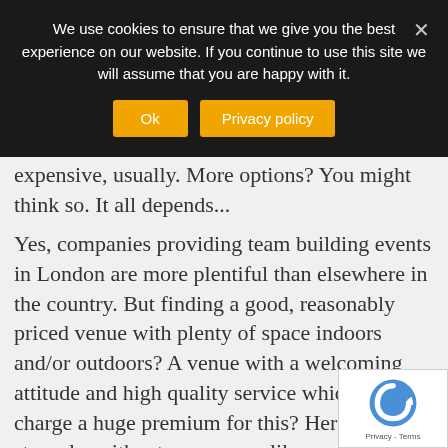We use cookies to ensure that we give you the best experience on our website. If you continue to use this site we will assume that you are happy with it.
Ok | Privacy policy
expensive, usually. More options? You might think so. It all depends...
Yes, companies providing team building events in London are more plentiful than elsewhere in the country. But finding a good, reasonably priced venue with plenty of space indoors and/or outdoors? A venue with a welcoming attitude and high quality service which won't charge a huge premium for this? Here you may struggle, without a company like ours to gu you.
London team building companies